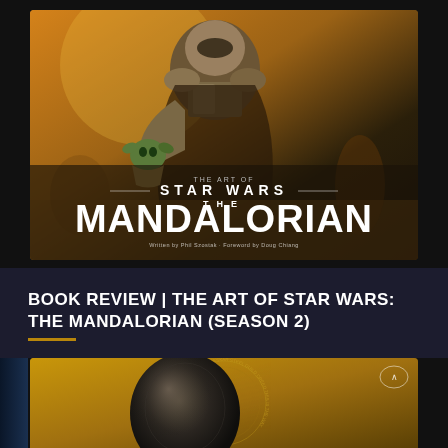[Figure (photo): Book cover of 'The Art of Star Wars: The Mandalorian' showing the Mandalorian warrior in armor holding Grogu (Baby Yoda), set against a warm desert background. White title text reads: THE ART OF / STAR WARS / THE / MANDALORIAN. Credits at bottom: Written by Phil Szostak · Foreword by Doug Chiang.]
BOOK REVIEW | THE ART OF STAR WARS: THE MANDALORIAN (SEASON 2)
[Figure (photo): Partial view of what appears to be a dark metallic helmet (possibly C-3PO or similar Star Wars droid/character) against a golden/yellow textured background with circular text inscription.]